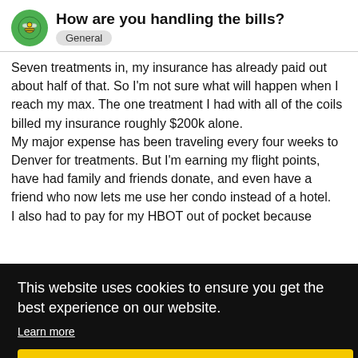How are you handling the bills? General
Seven treatments in, my insurance has already paid out about half of that. So I'm not sure what will happen when I reach my max. The one treatment I had with all of the coils billed my insurance roughly $200k alone.
My major expense has been traveling every four weeks to Denver for treatments. But I'm earning my flight points, have had family and friends donate, and even have a friend who now lets me use her condo instead of a hotel.
I also had to pay for my HBOT out of pocket because
ut still d ed!
This website uses cookies to ensure you get the best experience on our website.
Learn more
Got it!
ve a debt long